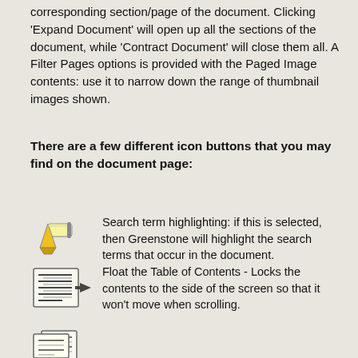corresponding section/page of the document. Clicking 'Expand Document' will open up all the sections of the document, while 'Contract Document' will close them all. A Filter Pages options is provided with the Paged Image contents: use it to narrow down the range of thumbnail images shown.
There are a few different icon buttons that you may find on the document page:
[Figure (illustration): Yellow highlighter marker icon]
Search term highlighting: if this is selected, then Greenstone will highlight the search terms that occur in the document.
[Figure (illustration): Float table of contents icon - document with arrow]
Float the Table of Contents - Locks the contents to the side of the screen so that it won't move when scrolling.
[Figure (illustration): Detach page icon - two overlapping documents]